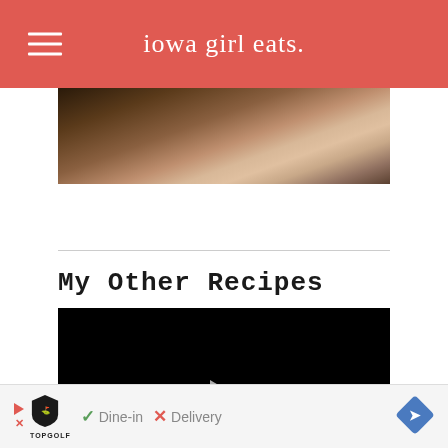iowa girl eats.
[Figure (photo): Partial photo of a person showing skin, cropped at top of page]
My Other Recipes
[Figure (screenshot): Black video player with a white play button triangle in the center]
[Figure (other): Advertisement banner featuring TopGolf logo with Dine-in checkmark and Delivery X mark, and blue navigation diamond icon]